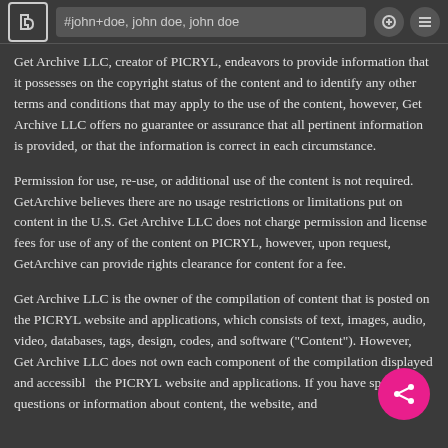#john+doe, john doe, john doe
Get Archive LLC, creator of PICRYL, endeavors to provide information that it possesses on the copyright status of the content and to identify any other terms and conditions that may apply to the use of the content, however, Get Archive LLC offers no guarantee or assurance that all pertinent information is provided, or that the information is correct in each circumstance.
Permission for use, re-use, or additional use of the content is not required. GetArchive believes there are no usage restrictions or limitations put on content in the U.S. Get Archive LLC does not charge permission and license fees for use of any of the content on PICRYL, however, upon request, GetArchive can provide rights clearance for content for a fee.
Get Archive LLC is the owner of the compilation of content that is posted on the PICRYL website and applications, which consists of text, images, audio, video, databases, tags, design, codes, and software ("Content"). However, Get Archive LLC does not own each component of the compilation displayed and accessible the PICRYL website and applications. If you have specific questions or information about content, the website, and